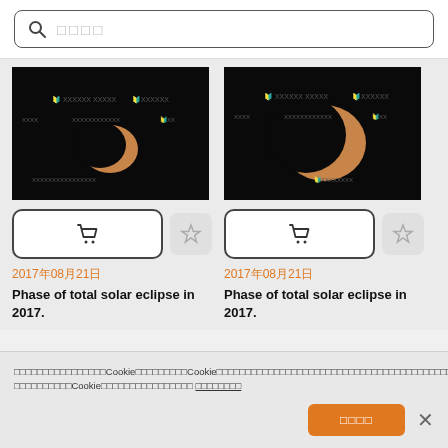□□□□ (search placeholder)
[Figure (photo): Solar eclipse photo showing crescent sun against black sky with watermark text overlay]
[Figure (photo): Solar eclipse photo showing partial eclipse with larger crescent against black sky with watermark text overlay]
2017年08月21日
Phase of total solar eclipse in 2017.
2017年08月21日
Phase of total solar eclipse in 2017.
Cookie notice text in Japanese with link